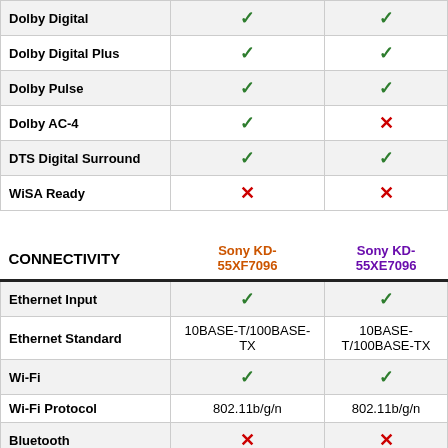| Feature | Sony KD-55XF7096 | Sony KD-55XE7096 |
| --- | --- | --- |
| Dolby Digital | ✓ | ✓ |
| Dolby Digital Plus | ✓ | ✓ |
| Dolby Pulse | ✓ | ✓ |
| Dolby AC-4 | ✓ | ✗ |
| DTS Digital Surround | ✓ | ✓ |
| WiSA Ready | ✗ | ✗ |
| CONNECTIVITY | Sony KD-55XF7096 | Sony KD-55XE7096 |
| Ethernet Input | ✓ | ✓ |
| Ethernet Standard | 10BASE-T/100BASE-TX | 10BASE-T/100BASE-TX |
| Wi-Fi | ✓ | ✓ |
| Wi-Fi Protocol | 802.11b/g/n | 802.11b/g/n |
| Bluetooth | ✗ | ✗ |
| Smartphone Connectivity | Screen mirroring (Miracast™) Media Connect | Screen mirroring (Miracast™) |